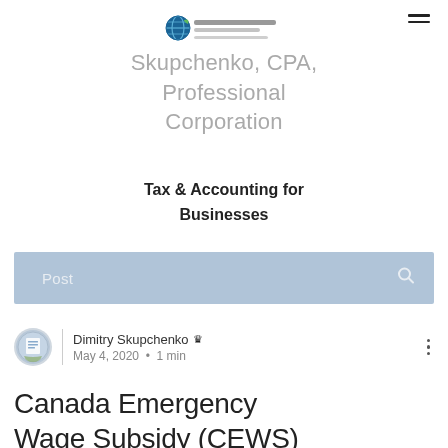[Figure (logo): Skupchenko CPA Professional Corporation logo with globe icon]
Skupchenko, CPA, Professional Corporation
Tax & Accounting for Businesses
[Figure (screenshot): Search bar with 'Post' placeholder text and search icon on light blue background]
[Figure (photo): Author avatar thumbnail for Dimitry Skupchenko]
Dimitry Skupchenko 👑
May 4, 2020 • 1 min
Canada Emergency Wage Subsidy (CEWS)